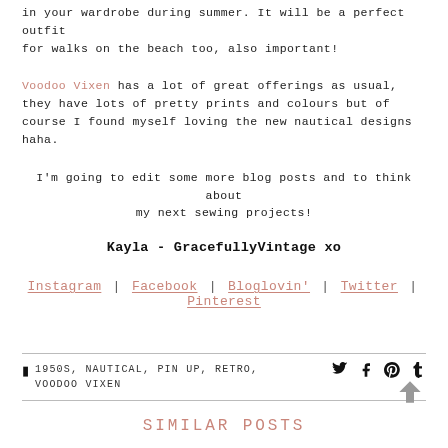in your wardrobe during summer. It will be a perfect outfit for walks on the beach too, also important!
Voodoo Vixen has a lot of great offerings as usual, they have lots of pretty prints and colours but of course I found myself loving the new nautical designs haha.
I'm going to edit some more blog posts and to think about my next sewing projects!
Kayla - GracefullyVintage xo
Instagram | Facebook | Bloglovin' | Twitter | Pinterest
1950S, NAUTICAL, PIN UP, RETRO, VOODOO VIXEN
SIMILAR POSTS